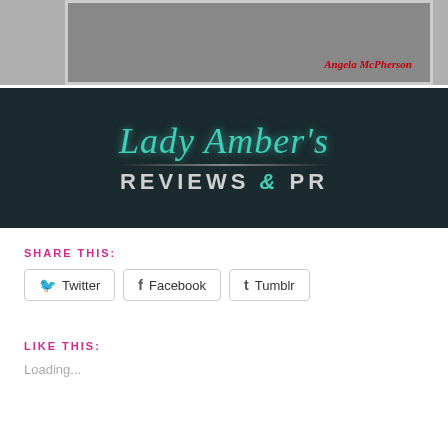[Figure (photo): Partial view of a book cover with a blurred photo background and red italic author name 'Angela McPherson' in the lower right]
[Figure (logo): Lady Amber's Reviews & PR logo — teal cursive script 'Lady Amber's' above bold silver uppercase 'REVIEWS & PR' on a dark background with decorative swirl]
SHARE THIS:
Twitter  Facebook  Tumblr
LIKE THIS:
Loading...